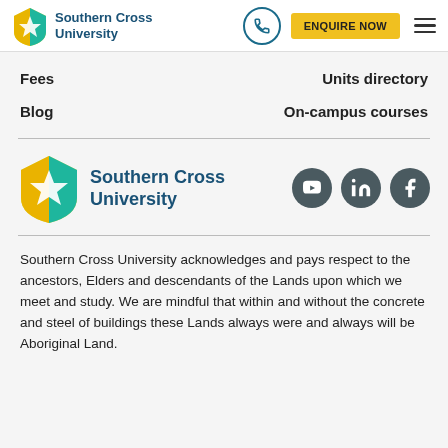[Figure (logo): Southern Cross University logo with shield icon and text in header]
Fees
Units directory
Blog
On-campus courses
[Figure (logo): Southern Cross University logo with shield icon and text in footer brand area, with YouTube, LinkedIn, and Facebook social icons]
Southern Cross University acknowledges and pays respect to the ancestors, Elders and descendants of the Lands upon which we meet and study. We are mindful that within and without the concrete and steel of buildings these Lands always were and always will be Aboriginal Land.